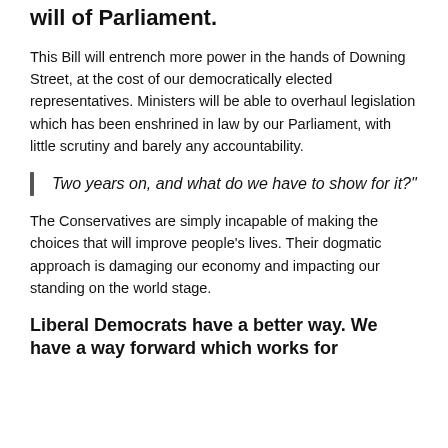will of Parliament.
This Bill will entrench more power in the hands of Downing Street, at the cost of our democratically elected representatives. Ministers will be able to overhaul legislation which has been enshrined in law by our Parliament, with little scrutiny and barely any accountability.
Two years on, and what do we have to show for it?"
The Conservatives are simply incapable of making the choices that will improve people's lives. Their dogmatic approach is damaging our economy and impacting our standing on the world stage.
Liberal Democrats have a better way. We have a way forward which works for